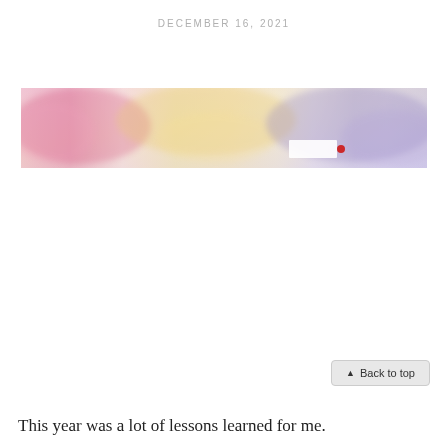DECEMBER 16, 2021
[Figure (illustration): Watercolor banner image with blended pink, magenta, yellow, and lavender/purple hues across a horizontal strip. A small red dot and a partial white rectangular element appear near the right-center of the image.]
▲ Back to top
This year was a lot of lessons learned for me.